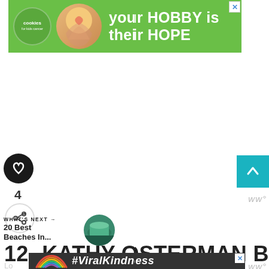[Figure (screenshot): Green advertisement banner for Cookies for Kids' Cancer: 'your HOBBY is their HOPE' with logo and heart cookie photo. Close button top right.]
[Figure (screenshot): Dark circular heart/like button (social media UI element)]
4
[Figure (screenshot): Share icon button (arrow with plus sign)]
[Figure (screenshot): Teal scroll-to-top button with upward chevron arrow]
ww°
WHAT'S NEXT →
20 Best Beaches In...
[Figure (photo): Circular thumbnail photo showing an aerial view of a beach]
12- KATHY OSTERMAN BEACH
[Figure (screenshot): Advertisement banner with dark background showing a chalk-drawn rainbow and '#ViralKindness' text. Close button top right.]
ww°